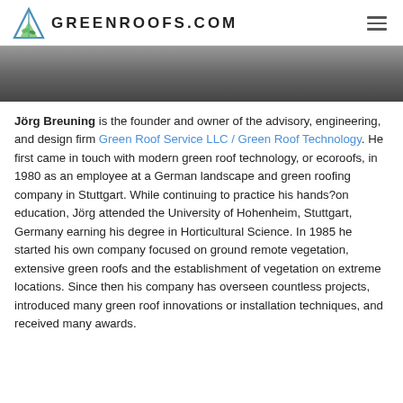GREENROOFS.COM
[Figure (photo): Cropped photo of a person, showing lower body/hands area, wearing dark clothing and jeans, sitting]
Jörg Breuning is the founder and owner of the advisory, engineering, and design firm Green Roof Service LLC / Green Roof Technology. He first came in touch with modern green roof technology, or ecoroofs, in 1980 as an employee at a German landscape and green roofing company in Stuttgart. While continuing to practice his hands?on education, Jörg attended the University of Hohenheim, Stuttgart, Germany earning his degree in Horticultural Science. In 1985 he started his own company focused on ground remote vegetation, extensive green roofs and the establishment of vegetation on extreme locations. Since then his company has overseen countless projects, introduced many green roof innovations or installation techniques, and received many awards.